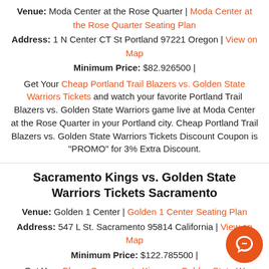Venue: Moda Center at the Rose Quarter | Moda Center at the Rose Quarter Seating Plan
Address: 1 N Center CT St Portland 97221 Oregon | View on Map
Minimum Price: $82.926500 |
Get Your Cheap Portland Trail Blazers vs. Golden State Warriors Tickets and watch your favorite Portland Trail Blazers vs. Golden State Warriors game live at Moda Center at the Rose Quarter in your Portland city. Cheap Portland Trail Blazers vs. Golden State Warriors Tickets Discount Coupon is "PROMO" for 3% Extra Discount.
Sacramento Kings vs. Golden State Warriors Tickets Sacramento
Venue: Golden 1 Center | Golden 1 Center Seating Plan
Address: 547 L St. Sacramento 95814 California | View on Map
Minimum Price: $122.785500 |
Get Your Cheap Sacramento Kings vs. Golden State Warriors Tickets and watch your favorite Sacramento Kings vs. Golden State Warriors game live at Golden 1 Center in your Sacramento